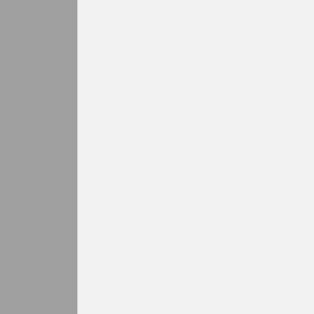P407... US B...
P407... PDE9 specific cGMP US B...
P407... (PDE ...) US B...
P407... (PDE ...) US B...
P407... cAMP HSPD... US B...
P407... (PDE ...) phosph... US B...
P407...